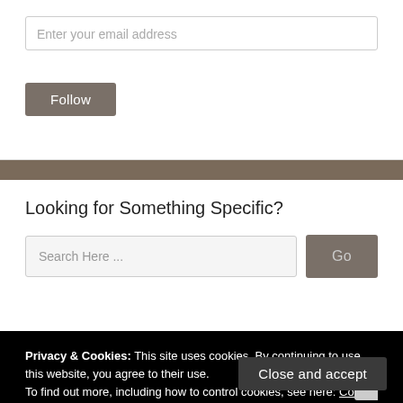Enter your email address
Follow
Looking for Something Specific?
Search Here ...
Go
Privacy & Cookies: This site uses cookies. By continuing to use this website, you agree to their use.
To find out more, including how to control cookies, see here: Cookie Policy
Close and accept